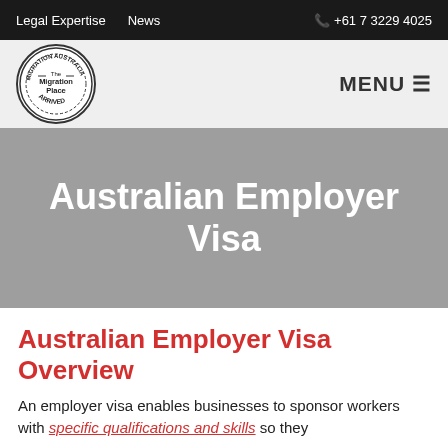Legal Expertise   News   +61 7 3229 4025
[Figure (logo): The Migration Place circular stamp logo with text 'MIGRATION AUSTRALIA The Migration Place ARRIVED']
Australian Employer Visa
Australian Employer Visa Overview
An employer visa enables businesses to sponsor workers with specific qualifications and skills so they